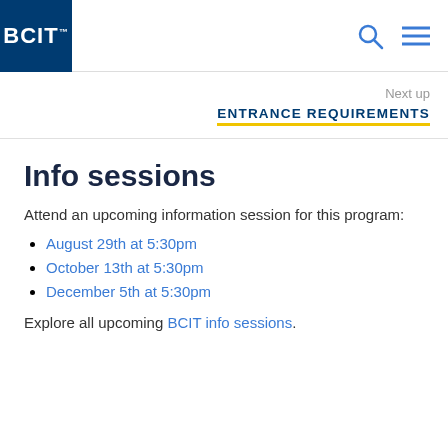BCIT
Next up
ENTRANCE REQUIREMENTS
Info sessions
Attend an upcoming information session for this program:
August 29th at 5:30pm
October 13th at 5:30pm
December 5th at 5:30pm
Explore all upcoming BCIT info sessions.